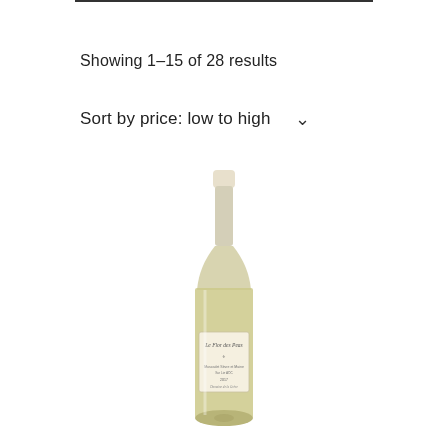Showing 1–15 of 28 results
Sort by price: low to high
[Figure (photo): A bottle of white wine with a cream/off-white label reading 'Le Flor des Peas' with decorative script text and additional tasting notes, featuring a pale green/yellow liquid and a cream capsule.]